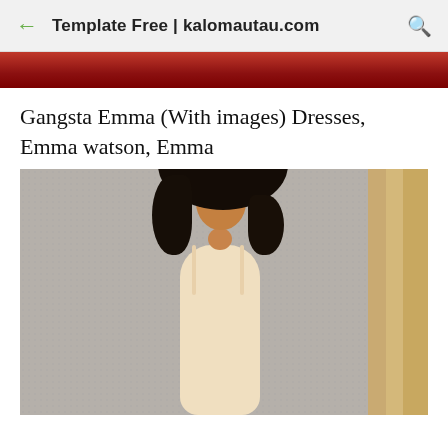Template Free | kalomautau.com
[Figure (photo): Partial top image with red background, cropped]
Gangsta Emma (With images) Dresses, Emma watson, Emma
[Figure (photo): Young woman with long curly black hair wearing a cream/beige form-fitting ribbed dress, posing sideways against a grey textured wall with a wooden door visible on the right]